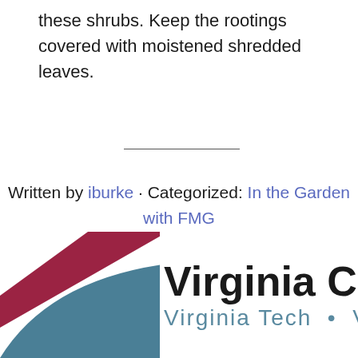these shrubs. Keep the rootings covered with moistened shredded leaves.
Written by iburke · Categorized: In the Garden with FMG
[Figure (logo): Virginia Cooperative Extension logo with Virginia Tech branding, featuring a dark red and teal geometric arc graphic on the left]